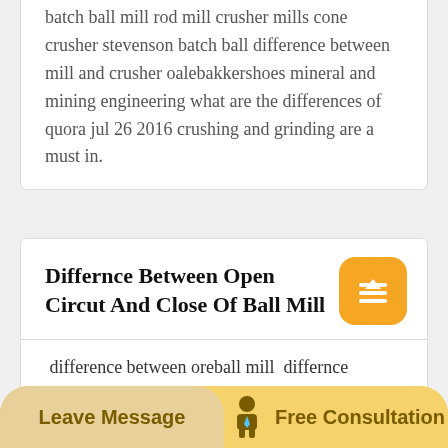batch ball mill rod mill crusher mills cone crusher stevenson batch ball difference between mill and crusher oalebakkershoes mineral and mining engineering what are the differences of quora jul 26 2016 crushing and grinding are a must in.
Differnce Between Open Circut And Close Of Ball Mill
difference between oreball mill  differnce between open circut and close of ball mill. Continuous Ball Mill Circuit For Grinding. When the amount of ore in the mills was the
Leave Message   Free Consultation